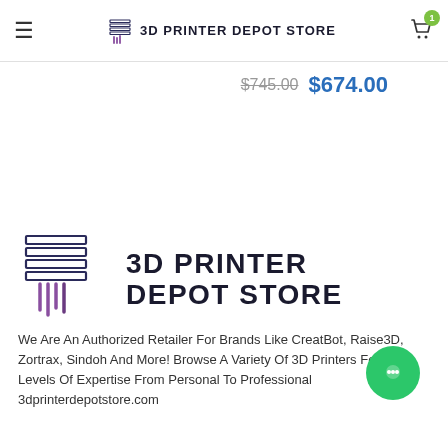3D PRINTER DEPOT STORE
$745.00 $674.00
[Figure (logo): 3D Printer Depot Store logo — stacked pages icon with purple filament strands, beside bold uppercase text '3D PRINTER DEPOT STORE']
We Are An Authorized Retailer For Brands Like CreatBot, Raise3D, Zortrax, Sindoh And More! Browse A Variety Of 3D Printers For All Levels Of Expertise From Personal To Professional 3dprinterdepotstore.com